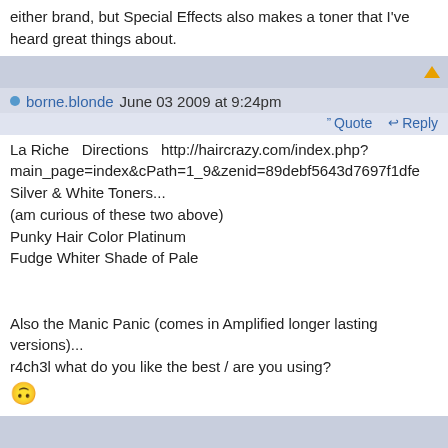either brand, but Special Effects also makes a toner that I've heard great things about.
borne.blonde June 03 2009 at 9:24pm
Quote  Reply
La Riche  Directions  http://haircrazy.com/index.php?main_page=index&cPath=1_9&zenid=89debf5643d7697f1dfe Silver & White Toners...
(am curious of these two above)
Punky Hair Color Platinum
Fudge Whiter Shade of Pale


Also the Manic Panic (comes in Amplified longer lasting versions)...
r4ch3l what do you like the best / are you using?
r4ch3l June 03 2009 at 10:22pm  Quote  Reply
Special Effects I find is best, always. But, like I've said, I've